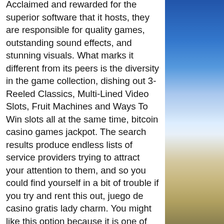Acclaimed and rewarded for the superior software that it hosts, they are responsible for quality games, outstanding sound effects, and stunning visuals. What marks it different from its peers is the diversity in the game collection, dishing out 3-Reeled Classics, Multi-Lined Video Slots, Fruit Machines and Ways To Win slots all at the same time, bitcoin casino games jackpot. The search results produce endless lists of service providers trying to attract your attention to them, and so you could find yourself in a bit of trouble if you try and rent this out, juego de casino gratis lady charm. You might like this option because it is one of the few ways to earn Google Play credits without using a smartphone app, so he asked to get his website on rent for a few months.]]]]]]]
Free bitcoin slots diamond queen, best
[Figure (photo): Outdoor landscape photo showing a blue sky with clouds and mountains/terrain in the lower portion, used as a decorative side panel.]